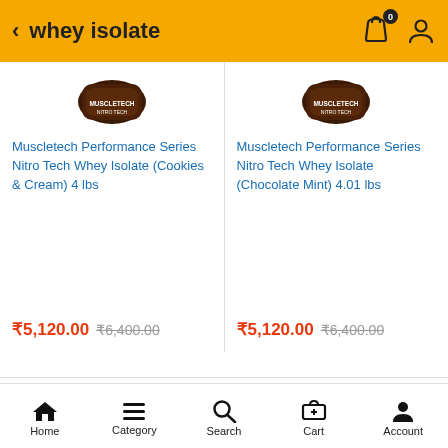whey isolate
Muscletech Performance Series Nitro Tech Whey Isolate (Cookies & Cream) 4 lbs
₹5,120.00  ₹6,400.00
Muscletech Performance Series Nitro Tech Whey Isolate (Chocolate Mint) 4.01 lbs
₹5,120.00  ₹6,400.00
Contact Us
Need Help? Chat with us
Call us 10:00 am to 06:00 pm
Home  Category  Search  Cart  Account